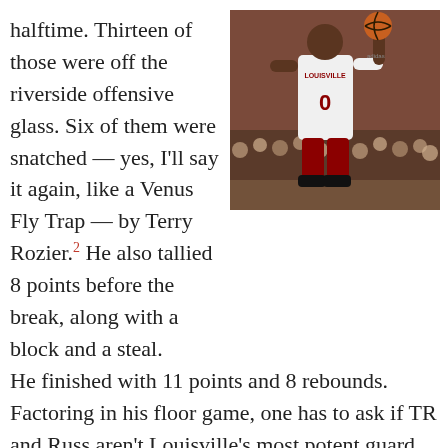halftime. Thirteen of those were off the riverside offensive glass. Six of them were snatched — yes, I'll say it again, like a Venus Fly Trap — by Terry Rozier.2 He also tallied 8 points before the break, along with a block and a steal.
[Figure (photo): Basketball player in white Louisville #0 jersey holding a basketball, with crowd in background]
He finished with 11 points and 8 rebounds. Factoring in his floor game, one has to ask if TR and Russ aren't Louisville's most potent guard combo, despite Chris Jones' eminent talents?3
Other first half highlights, included Mango taking two charges, U of L's relentless D and Chane Behanan taking a shot in the testicles.4